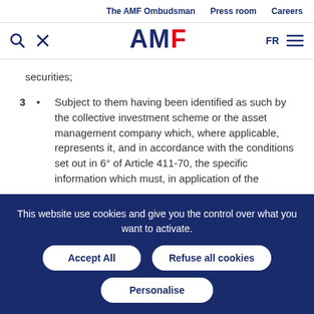The AMF Ombudsman   Press room   Careers
[Figure (logo): AMF logo with search icon, close icon, FR language toggle and hamburger menu]
securities;
3 • Subject to them having been identified as such by the collective investment scheme or the asset management company which, where applicable, represents it, and in accordance with the conditions set out in 6° of Article 411-70, the specific information which must, in application of the
This website use cookies and give you the control over what you want to activate.
Accept All   Refuse all cookies   Personalise